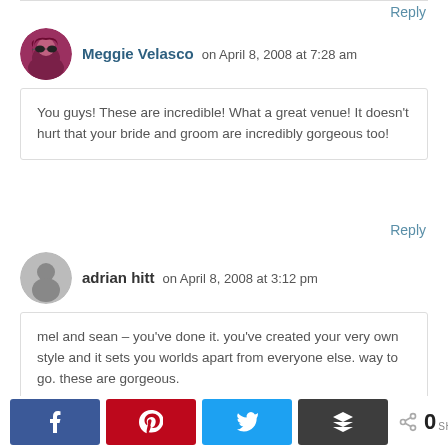Reply
Meggie Velasco on April 8, 2008 at 7:28 am
You guys! These are incredible! What a great venue! It doesn’t hurt that your bride and groom are incredibly gorgeous too!
Reply
adrian hitt on April 8, 2008 at 3:12 pm
mel and sean – you’ve done it. you’ve created your very own style and it sets you worlds apart from everyone else. way to go. these are gorgeous.
[Figure (infographic): Social sharing bar with Facebook, Pinterest, Twitter, and stack/buffer buttons, plus a share count showing 0 SHARES]